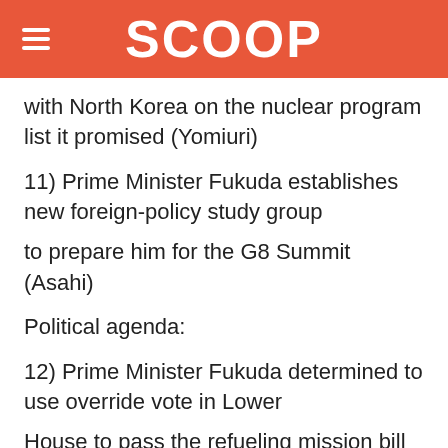SCOOP
with North Korea on the nuclear program list it promised (Yomiuri)
11) Prime Minister Fukuda establishes new foreign-policy study group
to prepare him for the G8 Summit (Asahi)
Political agenda:
12) Prime Minister Fukuda determined to use override vote in Lower
House to pass the refueling mission bill once the Upper House
rejects it (Yomiuri)
13) Democratic Party of Japan President Ozawa aims to have his party